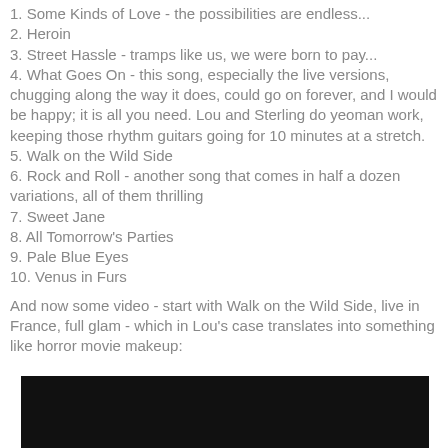1. Some Kinds of Love - the possibilities are endless...
2. Heroin
3. Street Hassle - tramps like us, we were born to pay...
4. What Goes On - this song, especially the live versions, chugging along the way it does, could go on forever, and I would be happy; it is all you need. Lou and Sterling do yeoman work, keeping those rhythm guitars going for 10 minutes at a stretch.
5. Walk on the Wild Side
6. Rock and Roll - another song that comes in half a dozen variations, all of them thrilling
7. Sweet Jane
8. All Tomorrow's Parties
9. Pale Blue Eyes
10. Venus in Furs
And now some video - start with Walk on the Wild Side, live in France, full glam - which in Lou's case translates into something like horror movie makeup:
[Figure (screenshot): Black video thumbnail/embed area at the bottom of the page]